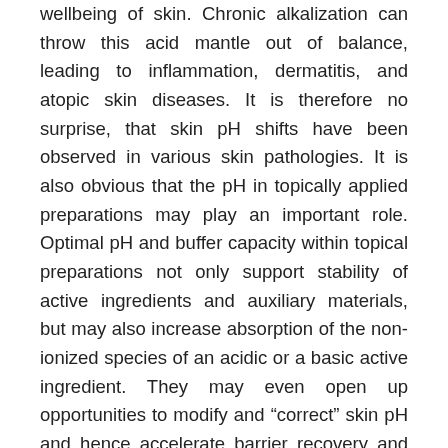wellbeing of skin. Chronic alkalization can throw this acid mantle out of balance, leading to inflammation, dermatitis, and atopic skin diseases. It is therefore no surprise, that skin pH shifts have been observed in various skin pathologies. It is also obvious that the pH in topically applied preparations may play an important role. Optimal pH and buffer capacity within topical preparations not only support stability of active ingredients and auxiliary materials, but may also increase absorption of the non-ionized species of an acidic or a basic active ingredient. They may even open up opportunities to modify and "correct" skin pH and hence accelerate barrier recovery and maintain or enhance barrier integrity. Further efforts are needed to standardize and improve pH measurements in biological media or pharmaceutical/cosmetic vehicles to increase